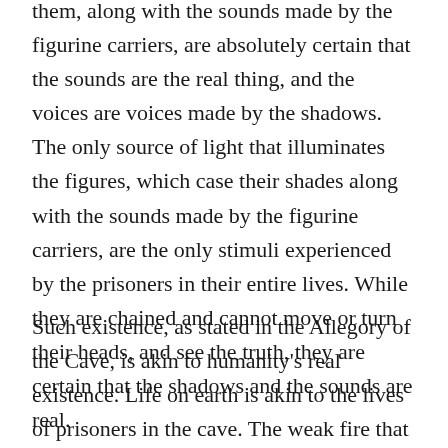them, along with the sounds made by the figurine carriers, are absolutely certain that the sounds are the real thing, and the voices are voices made by the shadows. The only source of light that illuminates the figures, which case their shades along with the sounds made by the figurine carriers, are the only stimuli experienced by the prisoners in their entire lives. While they are chained and cannot move or turn their heads, and see the truth, they are certain that the shadows and the sounds are real.
Such existence, as stated in the Allegory of the Cave, is akin to humanity's real existence. Life on earth is akin to the lives of prisoners in the cave. The weak fire that illuminates the cave is